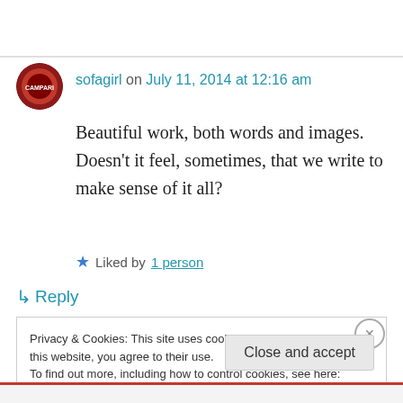sofagirl on July 11, 2014 at 12:16 am
Beautiful work, both words and images. Doesn't it feel, sometimes, that we write to make sense of it all?
Liked by 1 person
↳ Reply
Privacy & Cookies: This site uses cookies. By continuing to use this website, you agree to their use.
To find out more, including how to control cookies, see here: Cookie Policy
Close and accept